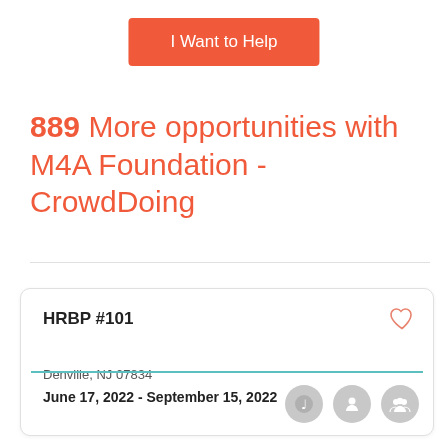[Figure (other): Orange button labeled 'I Want to Help']
889 More opportunities with M4A Foundation - CrowdDoing
HRBP #101
Denville, NJ 07834
June 17, 2022 - September 15, 2022